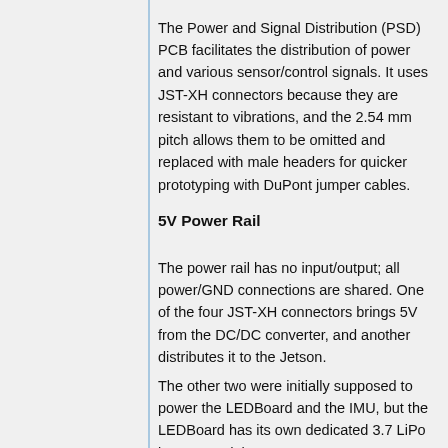The Power and Signal Distribution (PSD) PCB facilitates the distribution of power and various sensor/control signals. It uses JST-XH connectors because they are resistant to vibrations, and the 2.54 mm pitch allows them to be omitted and replaced with male headers for quicker prototyping with DuPont jumper cables.
5V Power Rail
The power rail has no input/output; all power/GND connections are shared. One of the four JST-XH connectors brings 5V from the DC/DC converter, and another distributes it to the Jetson.
The other two were initially supposed to power the LEDBoard and the IMU, but the LEDBoard has its own dedicated 3.7 LiPo battery, and the IMU was not